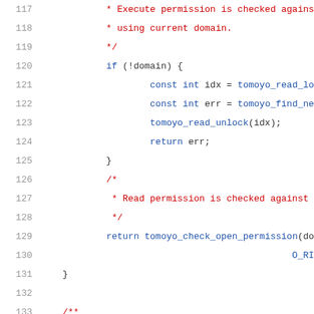[Figure (screenshot): Source code listing showing C code lines 117-137, with line numbers on the left and syntax-highlighted code on the right. Comments are in red, keywords and function names in blue, plain code in dark color.]